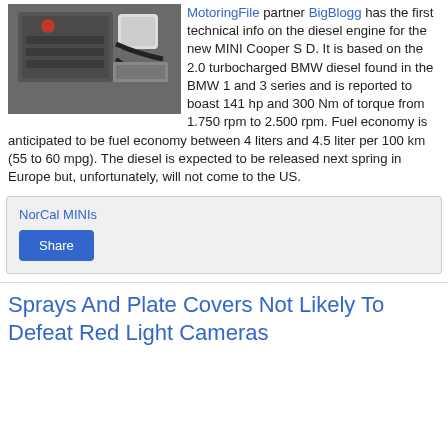[Figure (photo): Car engine bay photo, showing a turbocharged BMW diesel engine]
MotoringFile partner BigBlogg has the first technical info on the diesel engine for the new MINI Cooper S D. It is based on the 2.0 turbocharged BMW diesel found in the BMW 1 and 3 series and is reported to boast 141 hp and 300 Nm of torque from 1.750 rpm to 2.500 rpm. Fuel economy is anticipated to be fuel economy between 4 liters and 4.5 liter per 100 km (55 to 60 mpg). The diesel is expected to be released next spring in Europe but, unfortunately, will not come to the US.
NorCal MINIs
Share
Sprays And Plate Covers Not Likely To Defeat Red Light Cameras